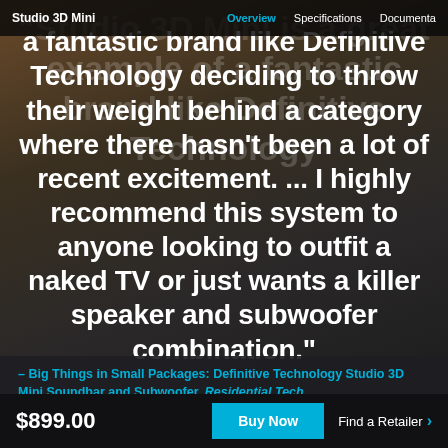Studio 3D Mini   Overview   Specifications   Documentation
"Studio 3D Mini is a great example of a fantastic brand like Definitive Technology deciding to throw their weight behind a category where there hasn't been a lot of recent excitement. ... I highly recommend this system to anyone looking to outfit a naked TV or just wants a killer speaker and subwoofer combination."
– Big Things in Small Packages: Definitive Technology Studio 3D Mini Soundbar and Subwoofer, Residential Tech
$899.00
Buy Now
Find a Retailer >